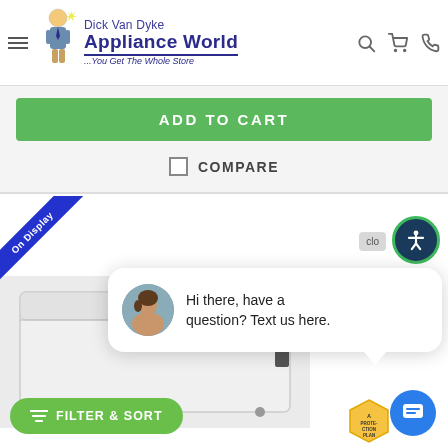[Figure (logo): Dick Van Dyke Appliance World logo with mascot character and text '...You Get The Whole Store']
[Figure (screenshot): Green ADD TO CART button]
COMPARE
[Figure (screenshot): Product listing section showing 'On Display' ribbon badge, white chest freezer appliance image, chat popup saying 'Hi there, have a question? Text us here.', Filter & Sort button, and accessibility icon]
Hi there, have a question? Text us here.
FILTER & SORT